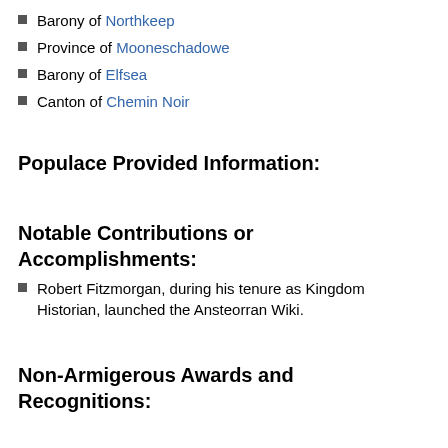Barony of Northkeep
Province of Mooneschadowe
Barony of Elfsea
Canton of Chemin Noir
Populace Provided Information:
Notable Contributions or Accomplishments:
Robert Fitzmorgan, during his tenure as Kingdom Historian, launched the Ansteorran Wiki.
Non-Armigerous Awards and Recognitions:
Affiliations:
Mundane Information:
Please see User:Fitzmorgan.